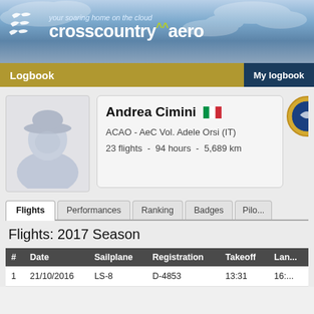your soaring home on the cloud crosscountry.aero
Logbook   My logbook
[Figure (photo): Default user avatar silhouette in grey and light blue tones]
Andrea Cimini [IT flag] ACAO - AeC Vol. Adele Orsi (IT) 23 flights - 94 hours - 5,689 km
Flights | Performances | Ranking | Badges | Pilot...
Flights: 2017 Season
| # | Date | Sailplane | Registration | Takeoff | Lan... |
| --- | --- | --- | --- | --- | --- |
| 1 | 21/10/2016 | LS-8 | D-4853 | 13:31 | 16:... |